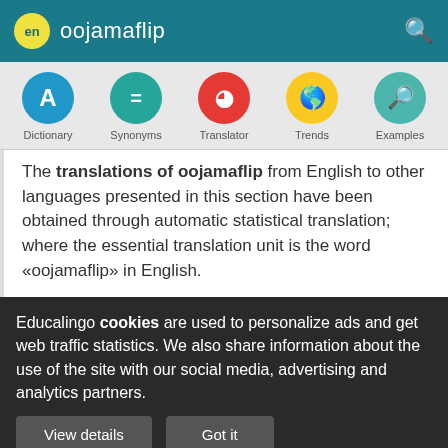en oojamaflip
[Figure (infographic): Navigation icon row with five colored circles: Dictionary (blue, letter A), Synonyms (teal, equals sign), Translator (red, sigma/circle icon), Trends (yellow, globe), Examples (green, magnifier)]
The translations of oojamaflip from English to other languages presented in this section have been obtained through automatic statistical translation; where the essential translation unit is the word «oojamaflip» in English.
Educalingo cookies are used to personalize ads and get web traffic statistics. We also share information about the use of the site with our social media, advertising and analytics partners.